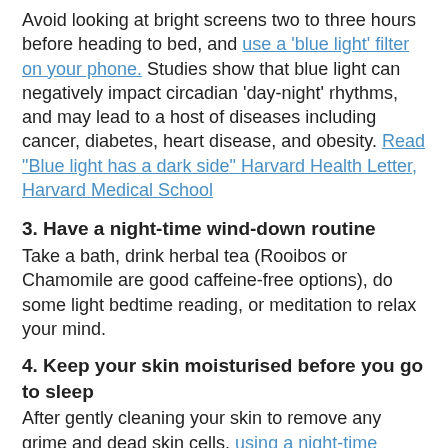Avoid looking at bright screens two to three hours before heading to bed, and use a 'blue light' filter on your phone. Studies show that blue light can negatively impact circadian 'day-night' rhythms, and may lead to a host of diseases including cancer, diabetes, heart disease, and obesity. Read "Blue light has a dark side" Harvard Health Letter, Harvard Medical School
3. Have a night-time wind-down routine
Take a bath, drink herbal tea (Rooibos or Chamomile are good caffeine-free options), do some light bedtime reading, or meditation to relax your mind.
4. Keep your skin moisturised before you go to sleep
After gently cleaning your skin to remove any grime and dead skin cells, using a night-time serum can help return moisture to your skin and provide nutrients and anti-oxidants to your cells to help with the recovery process.